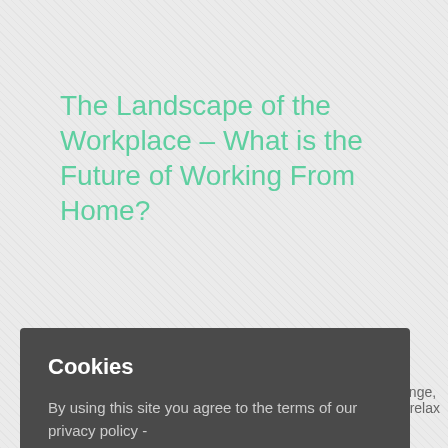The Landscape of the Workplace – What is the Future of Working From Home?
January 6th, 2021
change, op, relax
Cookies
By using this site you agree to the terms of our privacy policy -
More Info
No problem